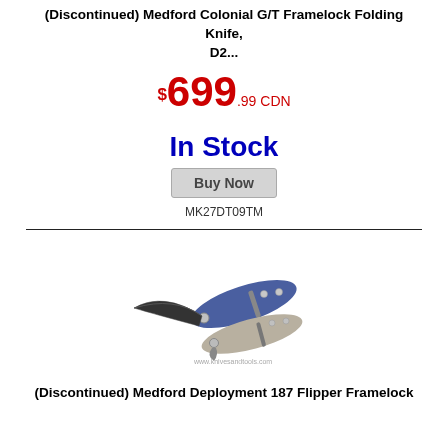(Discontinued) Medford Colonial G/T Framelock Folding Knife, D2...
$699.99 CDN
In Stock
Buy Now
MK27DT09TM
[Figure (photo): Two folding knives shown — one open with a black blade and blue handle, one closed showing the tan/grey handle side, with a watermark www.knivesandtools.com]
(Discontinued) Medford Deployment 187 Flipper Framelock